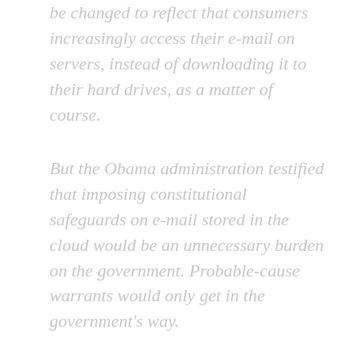be changed to reflect that consumers increasingly access their e-mail on servers, instead of downloading it to their hard drives, as a matter of course.
But the Obama administration testified that imposing constitutional safeguards on e-mail stored in the cloud would be an unnecessary burden on the government. Probable-cause warrants would only get in the government’s way.